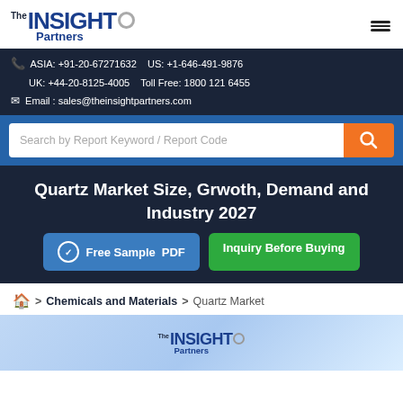The INSIGHT Partners
ASIA: +91-20-67271632   US: +1-646-491-9876   UK: +44-20-8125-4005   Toll Free: 1800 121 6455   Email : sales@theinsightpartners.com
Search by Report Keyword / Report Code
Quartz Market Size, Grwoth, Demand and Industry 2027
Free Sample PDF   Inquiry Before Buying
Home > Chemicals and Materials > Quartz Market
[Figure (logo): The Insight Partners logo on product image background]